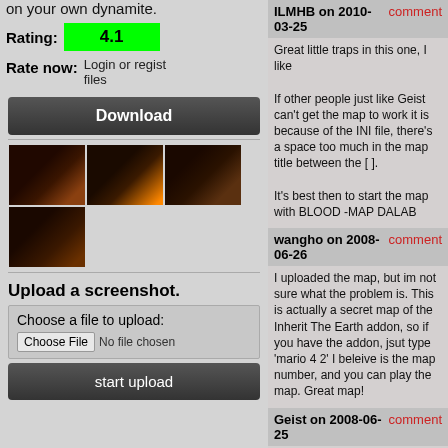on your own dynamite.
Rating: 4.1
Rate now: Login or regist files
Download
[Figure (screenshot): Four game screenshots showing dark scenes with fire/explosions]
Upload a screenshot.
Choose a file to upload: Choose File No file chosen
start upload
ILMHB on 2010-03-25
comment
Great little traps in this one, I like
If other people just like Geist can't get the map to work it is because of the INI file, there's a space too much in the map title between the [ ].

It's best then to start the map with BLOOD -MAP DALAB
wangho on 2008-06-26
comment
I uploaded the map, but im not sure what the problem is. This is actually a secret map of the Inherit The Earth addon, so if you have the addon, jsut type 'mario 4 2' I beleive is the map number, and you can play the map. Great map!
Geist on 2008-06-25
comment
The game won't load this map on my pc. As soon as I've